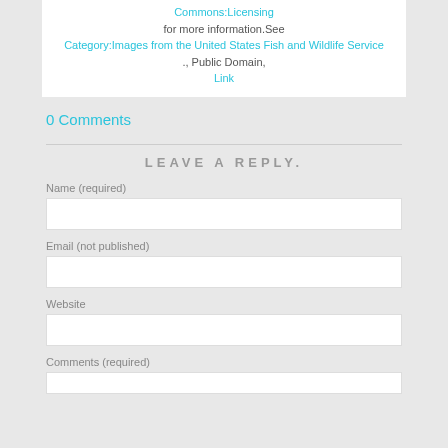Commons:Licensing for more information.See Category:Images from the United States Fish and Wildlife Service ., Public Domain, Link
0 Comments
LEAVE A REPLY.
Name (required)
Email (not published)
Website
Comments (required)